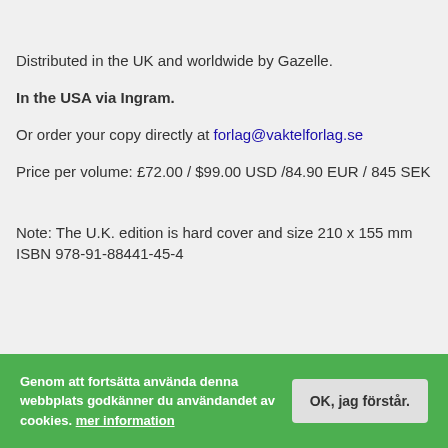Distributed in the UK and worldwide by Gazelle.
In the USA via Ingram.
Or order your copy directly at forlag@vaktelforlag.se
Price per volume: £72.00 / $99.00 USD /84.90 EUR / 845 SEK
Note: The U.K. edition is hard cover and size 210 x 155 mm ISBN 978-91-88441-45-4
Genom att fortsätta använda denna webbplats godkänner du användandet av cookies. mer information OK, jag förstår.